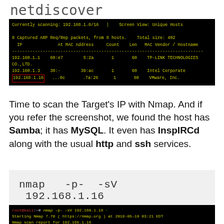netdiscover
[Figure (screenshot): Terminal screenshot showing netdiscover output: Currently scanning 192.168.1.0/16, Screen View: Unique Hosts. 8 Captured ARP Req/Rep packets from 8 hosts. Total size: 402. Table with IP, At MAC Address, Count, Len, MAC Vendor/Hostname. Rows: 192.168.1.1 60:e7 ...:5:2a 1 60 TP-LINK TECHNOLOGIES CO.,LTD. / 192.168.1.3 30:-- ...39:ac 1 60 Intel Corporate / 192.168.1.16 (boxed in red) ...0c ...7a:26 1 60 VMware, Inc.]
Time to scan the Target's IP with Nmap. And if you refer the screenshot, we found the host has Samba; it has MySQL. It even has InspIRCd along with the usual http and ssh services.
[Figure (screenshot): Code block showing: nmap  -p-  -sV  192.168.1.16]
[Figure (screenshot): Terminal screenshot: root@kali:~# nmap -p- -sV 192.160.1.16 with green arrow. Starting Nmap 7.70 (https://nmap.org) at 2019-05-19 03:21 EDT. Nmap scan report for 192.168.1.16. Host is up (0.0020s latency). Not shown: 65529 closed ports. PORT STATE SERVICE VERSION. 22/tcp open ssh OpenSSH 6.6.1p1 Ubuntu 2ubuntu2.0 (Ubuntu Linux;]